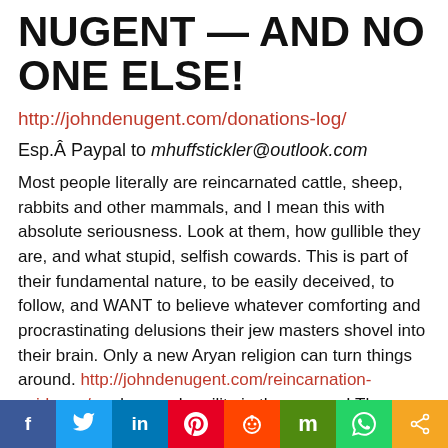NUGENT — AND NO ONE ELSE!
http://johndenugent.com/donations-log/
Esp.Â Paypal to mhuffstickler@outlook.com
Most people literally are reincarnated cattle, sheep, rabbits and other mammals, and I mean this with absolute seriousness. Look at them, how gullible they are, and what stupid, selfish cowards. This is part of their fundamental nature, to be easily deceived, to follow, and WANT to believe whatever comforting and procrastinating delusions their jew masters shovel into their brain. Only a new Aryan religion can turn things around. http://johndenugent.com/reincarnation-evidence/ and a new humility in the masses! They must learn to FOLLOW those who actually care about them, for follow they will in
f  t  in  p  s  m  w  <